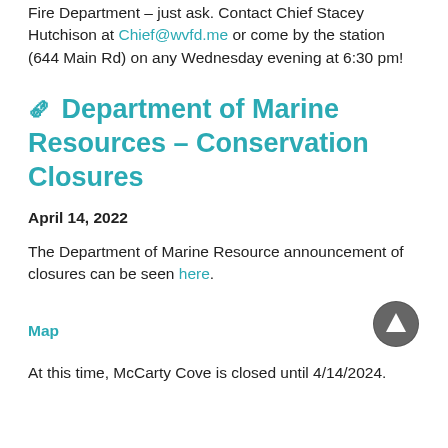Fire Department – just ask. Contact Chief Stacey Hutchison at Chief@wvfd.me or come by the station (644 Main Rd) on any Wednesday evening at 6:30 pm!
Department of Marine Resources – Conservation Closures
April 14, 2022
The Department of Marine Resource announcement of closures can be seen here.
Map
At this time, McCarty Cove is closed until 4/14/2024.